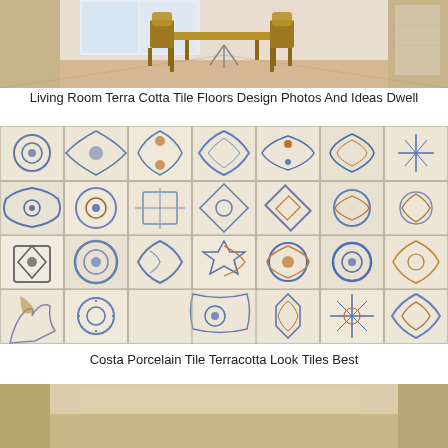[Figure (photo): Dining/living room interior with light wood floors, wooden chairs around a table, white walls, bright natural light from windows.]
Living Room Terra Cotta Tile Floors Design Photos And Ideas Dwell
[Figure (photo): Grid of 28 decorative porcelain tiles with terracotta look — ornate blue, gold, and white floral and geometric patterns, arranged in 4 rows of 7 tiles.]
Costa Porcelain Tile Terracotta Look Tiles Best
[Figure (photo): Bottom portion of a room with warm beige/gold walls, partially visible interior.]